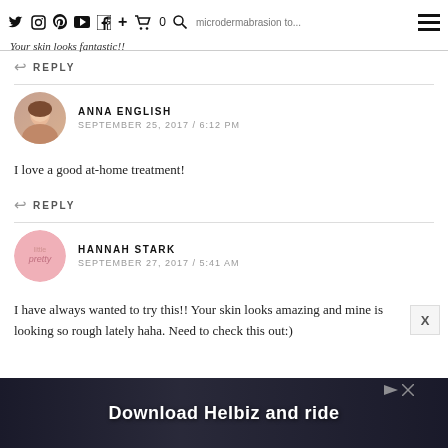home / microdermabrasion to... Your skin looks fantastic!!
REPLY
ANNA ENGLISH
SEPTEMBER 25, 2017 / 6:12 PM
I love a good at-home treatment!
REPLY
HANNAH STARK
SEPTEMBER 27, 2017 / 5:41 AM
I have always wanted to try this!! Your skin looks amazing and mine is looking so rough lately haha. Need to check this out:)
[Figure (other): Advertisement banner: Download Helbiz and ride]